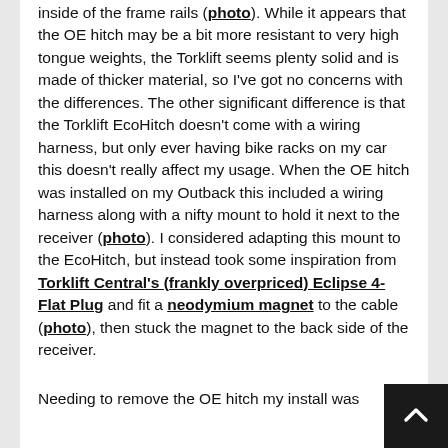inside of the frame rails (photo). While it appears that the OE hitch may be a bit more resistant to very high tongue weights, the Torklift seems plenty solid and is made of thicker material, so I've got no concerns with the differences. The other significant difference is that the Torklift EcoHitch doesn't come with a wiring harness, but only ever having bike racks on my car this doesn't really affect my usage. When the OE hitch was installed on my Outback this included a wiring harness along with a nifty mount to hold it next to the receiver (photo). I considered adapting this mount to the EcoHitch, but instead took some inspiration from Torklift Central's (frankly overpriced) Eclipse 4-Flat Plug and fit a neodymium magnet to the cable (photo), then stuck the magnet to the back side of the receiver.
Needing to remove the OE hitch my install was